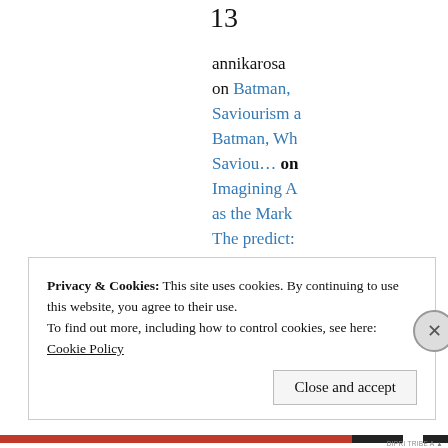13
annikarosa on Batman, Saviourism a Batman, Wh Saviou... on Imagining A as the Mark The predict: terr... on Yugosplaini World ... Enough 14 · Destituen... Logistics,
Privacy & Cookies: This site uses cookies. By continuing to use this website, you agree to their use.
To find out more, including how to control cookies, see here: Cookie Policy
Close and accept